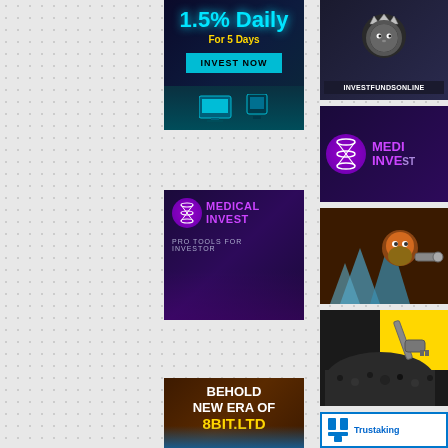[Figure (infographic): Investment ad banner: '1.5% Daily For 5 Days' with INVEST NOW button on dark blue/cyan background]
[Figure (infographic): Medical Invest logo ad with DNA helix icon on purple background, tagline 'PRO TOOLS FOR INVESTOR']
[Figure (infographic): 8bit.ltd game investment ad: 'BEHOLD NEW ERA OF 8BIT.LTD' on brown background with game character]
[Figure (logo): InvestFundsOnline ad with lion crown logo on dark background]
[Figure (infographic): Medical Invest banner with DNA helix circle icon and 'MEDI INVE' text on purple background]
[Figure (photo): Game character - dwarf/warrior with mechanical arm holding crystal, blue ice background]
[Figure (photo): Mining/excavation scene with coal/gravel and yellow machinery on yellow background]
[Figure (logo): Trustaking logo partial view - white background with blue logo mark and text]